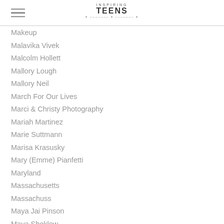Inspiring Teens
Makeup
Malavika Vivek
Malcolm Hollett
Mallory Lough
Mallory Neil
March For Our Lives
Marci & Christy Photography
Mariah Martinez
Marie Suttmann
Marisa Krasusky
Mary (Emme) Pianfetti
Maryland
Massachusetts
Massachuss
Maya Jai Pinson
Maya Sheklow
MC Photography
Meaghan Comer